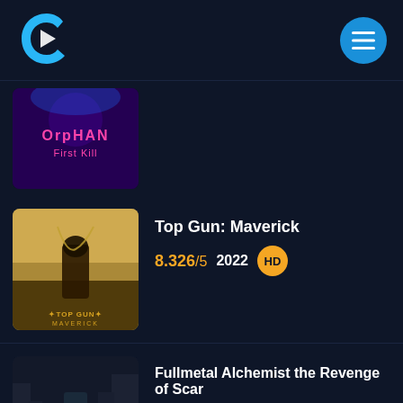[Figure (logo): Streaming app logo: stylized letter C with a play triangle, in cyan/white on dark background]
[Figure (other): Blue circular menu button with three horizontal white lines (hamburger icon)]
[Figure (photo): Orphan: First Kill movie poster - partially visible, dark purple background with horror text]
Top Gun: Maverick
8.326/5  2022  HD
[Figure (photo): Top Gun: Maverick movie poster showing a fighter pilot with jet aircraft and Top Gun Maverick logo]
Fullmetal Alchemist the Revenge of Scar
6.5/5  2022  HD
[Figure (photo): Fullmetal Alchemist the Revenge of Scar movie poster showing a figure in dark urban setting]